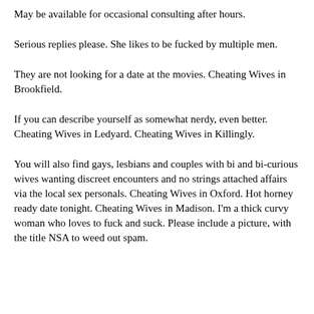May be available for occasional consulting after hours.
Serious replies please. She likes to be fucked by multiple men.
They are not looking for a date at the movies. Cheating Wives in Brookfield.
If you can describe yourself as somewhat nerdy, even better. Cheating Wives in Ledyard. Cheating Wives in Killingly.
You will also find gays, lesbians and couples with bi and bi-curious wives wanting discreet encounters and no strings attached affairs via the local sex personals. Cheating Wives in Oxford. Hot horney ready date tonight. Cheating Wives in Madison. I'm a thick curvy woman who loves to fuck and suck. Please include a picture, with the title NSA to weed out spam.